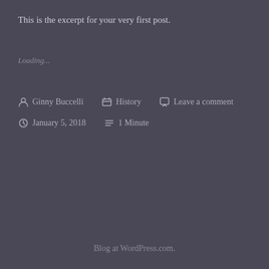This is the excerpt for your very first post.
Loading...
Ginny Buccelli   History   Leave a comment   January 5, 2018   1 Minute
Blog at WordPress.com.